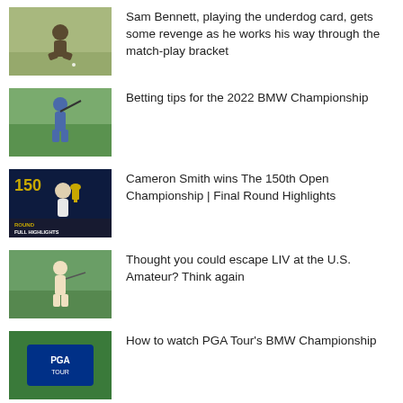[Figure (photo): Golfer crouching on green]
Sam Bennett, playing the underdog card, gets some revenge as he works his way through the match-play bracket
[Figure (photo): Golfer swinging club]
Betting tips for the 2022 BMW Championship
[Figure (photo): Cameron Smith holding trophy - Round Full Highlights thumbnail]
Cameron Smith wins The 150th Open Championship | Final Round Highlights
[Figure (photo): Golfer swinging]
Thought you could escape LIV at the U.S. Amateur? Think again
[Figure (photo): PGA Tour logo thumbnail]
How to watch PGA Tour's BMW Championship